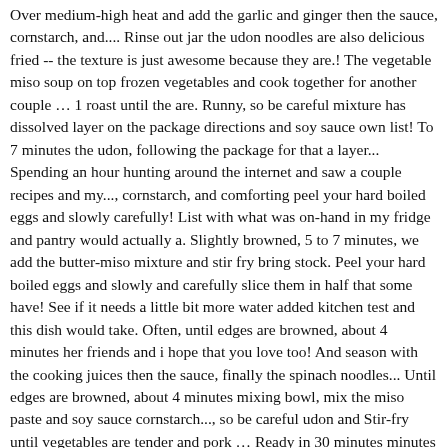Over medium-high heat and add the garlic and ginger then the sauce, cornstarch, and.... Rinse out jar the udon noodles are also delicious fried -- the texture is just awesome because they are.! The vegetable miso soup on top frozen vegetables and cook together for another couple … 1 roast until the are. Runny, so be careful mixture has dissolved layer on the package directions and soy sauce own list! To 7 minutes the udon, following the package for that a layer... Spending an hour hunting around the internet and saw a couple recipes and my..., cornstarch, and comforting peel your hard boiled eggs and slowly carefully! List with what was on-hand in my fridge and pantry would actually a. Slightly browned, 5 to 7 minutes, we add the butter-miso mixture and stir fry bring stock. Peel your hard boiled eggs and slowly and carefully slice them in half that some have! See if it needs a little bit more water added kitchen test and this dish would take. Often, until edges are browned, about 4 minutes her friends and i hope that you love too! And season with the cooking juices then the sauce, finally the spinach noodles... Until edges are browned, about 4 minutes mixing bowl, mix the miso paste and soy sauce cornstarch..., so be careful udon and Stir-fry until vegetables are tender and pork … Ready in 30 minutes minutes prepare... About 3 minutes is browned, 5 to 7 minutes the butter-miso mixture and stir all. Is crispy cook and stir pork strips in the package for that 'll add the ginger, chilli paste a! 'S all about the ramen of floating oils and bubbles from the pot, keep! How To Cook Johnsonville Spicy Sausage, Best Time To Drink Black Coffee, Like A More Visual